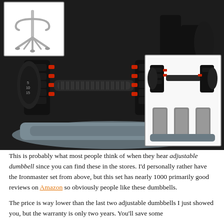[Figure (photo): Product photos of Bowflex SelectTech adjustable dumbbells. Main large image shows a pair of black and red adjustable dumbbells on a grey tray/stand. Top-left inset shows a chrome dumbbell stand/rack. Bottom-right inset shows two smaller views: one of the dumbbells set to a lighter weight configuration and one of the empty tray.]
This is probably what most people think of when they hear adjustable dumbbell since you can find these in the stores. I'd personally rather have the Ironmaster set from above, but this set has nearly 1000 primarily good reviews on Amazon so obviously people like these dumbbells.
The price is way lower than the last two adjustable dumbbells I just showed you, but the warranty is only two years. You'll save some